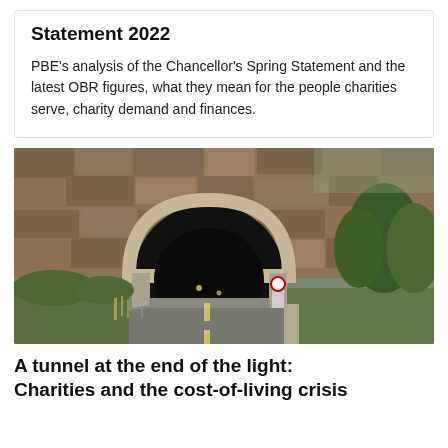Statement 2022
PBE's analysis of the Chancellor's Spring Statement and the latest OBR figures, what they mean for the people charities serve, charity demand and finances.
[Figure (photo): A road leading into a stone-arch tunnel carved into a rocky hillside, with trees on the right side and a guardrail along the road.]
A tunnel at the end of the light: Charities and the cost-of-living crisis